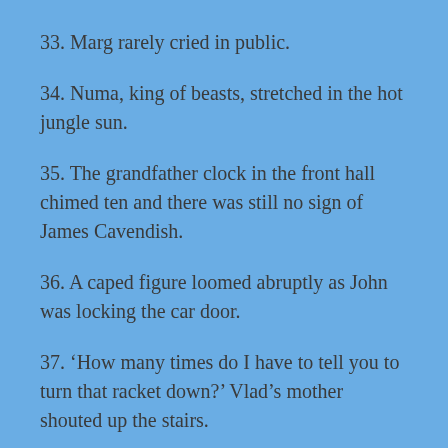33. Marg rarely cried in public.
34. Numa, king of beasts, stretched in the hot jungle sun.
35. The grandfather clock in the front hall chimed ten and there was still no sign of James Cavendish.
36. A caped figure loomed abruptly as John was locking the car door.
37. ‘How many times do I have to tell you to turn that racket down?’ Vlad’s mother shouted up the stairs.